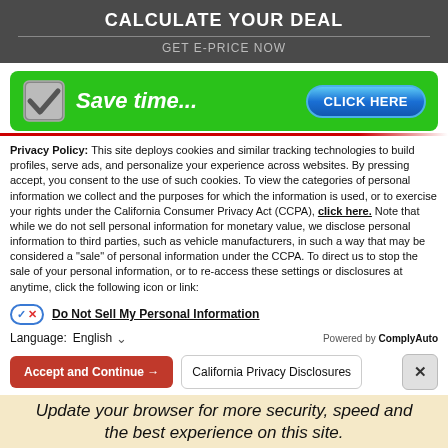CALCULATE YOUR DEAL
GET E-PRICE NOW
[Figure (screenshot): Green 'Save time...' banner with a checkbox icon and a blue 'CLICK HERE' button]
Privacy Policy: This site deploys cookies and similar tracking technologies to build profiles, serve ads, and personalize your experience across websites. By pressing accept, you consent to the use of such cookies. To view the categories of personal information we collect and the purposes for which the information is used, or to exercise your rights under the California Consumer Privacy Act (CCPA), click here. Note that while we do not sell personal information for monetary value, we disclose personal information to third parties, such as vehicle manufacturers, in such a way that may be considered a "sale" of personal information under the CCPA. To direct us to stop the sale of your personal information, or to re-access these settings or disclosures at anytime, click the following icon or link:
Do Not Sell My Personal Information
Language: English
Powered by ComplyAuto
Accept and Continue →
California Privacy Disclosures
Update your browser for more security, speed and the best experience on this site.
Update browser
Ignore